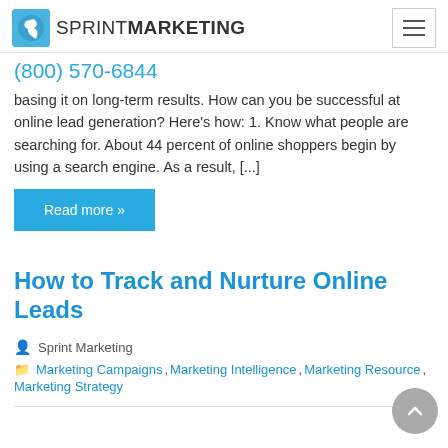SPRINT MARKETING | (800) 570-6844
basing it on long-term results. How can you be successful at online lead generation? Here's how: 1. Know what people are searching for. About 44 percent of online shoppers begin by using a search engine. As a result, [...]
Read more »
How to Track and Nurture Online Leads
Sprint Marketing
Marketing Campaigns, Marketing Intelligence, Marketing Resource, Marketing Strategy